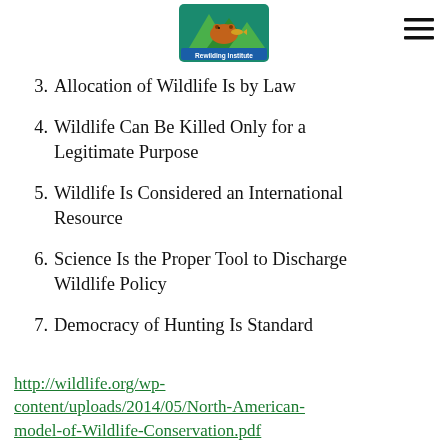[Figure (logo): Rewilding Institute logo — mountain triangle with bear/fish graphic and text 'Rewilding Institute']
3. Allocation of Wildlife Is by Law
4. Wildlife Can Be Killed Only for a Legitimate Purpose
5. Wildlife Is Considered an International Resource
6. Science Is the Proper Tool to Discharge Wildlife Policy
7. Democracy of Hunting Is Standard
http://wildlife.org/wp-content/uploads/2014/05/North-American-model-of-Wildlife-Conservation.pdf